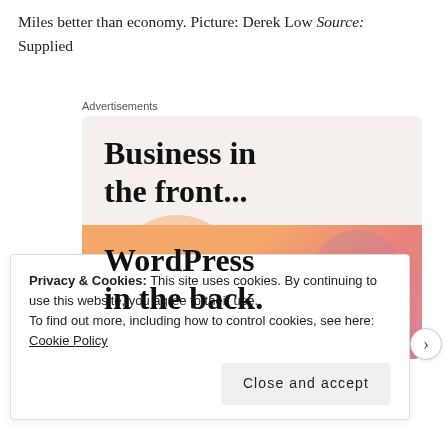Miles better than economy. Picture: Derek Low Source: Supplied
[Figure (infographic): Advertisement box with two sections: top section on light beige background reads 'Business in the front...' in large bold serif text; bottom section has orange/pink gradient background with 'WordPress in the back.' in large bold serif text.]
Privacy & Cookies: This site uses cookies. By continuing to use this website, you agree to their use.
To find out more, including how to control cookies, see here: Cookie Policy
Close and accept